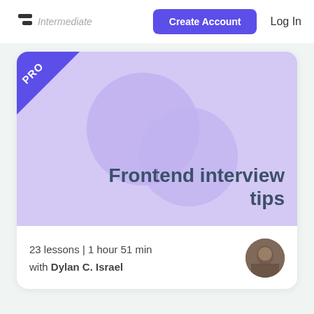Intermediate | Create Account | Log In
[Figure (screenshot): Course card thumbnail with lavender/purple background, decorative circles, PRO badge in corner, and text 'Frontend interview tips']
Frontend interview tips
23 lessons | 1 hour 51 min
with Dylan C. Israel